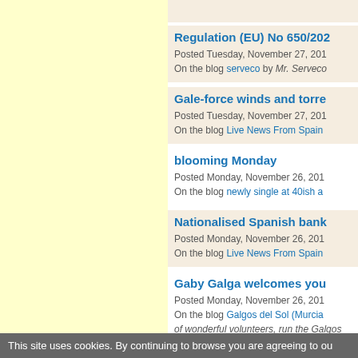Regulation (EU) No 650/20... Posted Tuesday, November 27, 201... On the blog serveco by Mr. Serveco
Gale-force winds and torre... Posted Tuesday, November 27, 201... On the blog Live News From Spain
blooming Monday Posted Monday, November 26, 201... On the blog newly single at 40ish a...
Nationalised Spanish bank... Posted Monday, November 26, 201... On the blog Live News From Spain
Gaby Galga welcomes you... Posted Monday, November 26, 201... On the blog Galgos del Sol (Murcia of wonderful volunteers, run the Galgos De...
This site uses cookies. By continuing to browse you are agreeing to ou...